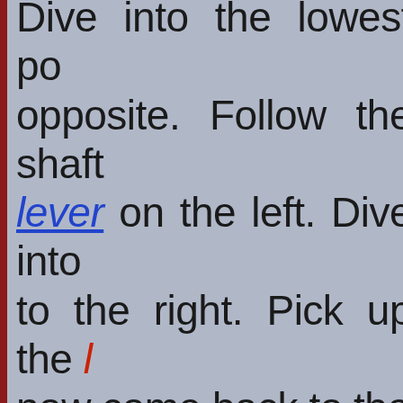Dive into the lowest po opposite. Follow the shaft lever on the left. Dive into to the right. Pick up the [red lever] now come back to the niches. Dive into the lowest it to the right through th some breath and follow th Dive up the long shaft. Cl lever to drop through the passage and step throug again to return to the b